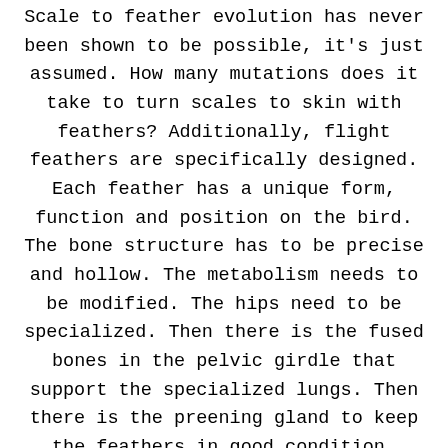Scale to feather evolution has never been shown to be possible, it's just assumed. How many mutations does it take to turn scales to skin with feathers? Additionally, flight feathers are specifically designed. Each feather has a unique form, function and position on the bird. The bone structure has to be precise and hollow. The metabolism needs to be modified. The hips need to be specialized. Then there is the fused bones in the pelvic girdle that support the specialized lungs. Then there is the preening gland to keep the feathers in good condition. Evolutionists focus on a few structural changes and seem to gloss over the most important key to flight, the will to fly and the programming that gets the whole structure off the ground. All these changes are necessary to take a dinosaur and change it into a bird. Can DNA be modified to such an extent without guidance?